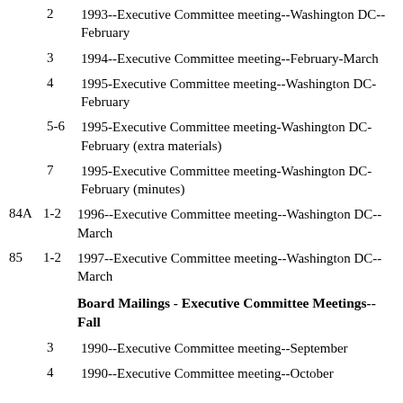2  1993--Executive Committee meeting--Washington DC--February
3  1994--Executive Committee meeting--February-March
4  1995-Executive Committee meeting--Washington DC-February
5-6  1995-Executive Committee meeting-Washington DC-February (extra materials)
7  1995-Executive Committee meeting-Washington DC-February (minutes)
84A  1-2  1996--Executive Committee meeting--Washington DC--March
85  1-2  1997--Executive Committee meeting--Washington DC--March
Board Mailings - Executive Committee Meetings--Fall
3  1990--Executive Committee meeting--September
4  1990--Executive Committee meeting--October